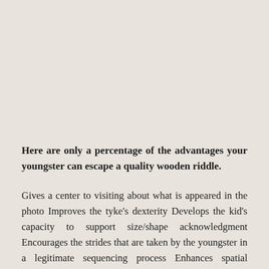Here are only a percentage of the advantages your youngster can escape a quality wooden riddle.
Gives a center to visiting about what is appeared in the photo Improves the tyke’s dexterity Develops the kid’s capacity to support size/shape acknowledgment Encourages the strides that are taken by the youngster in a legitimate sequencing process Enhances spatial mindfulness Develops the kid’s capacity to distinguish